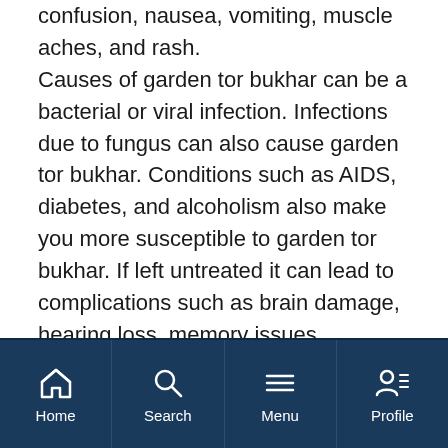confusion, nausea, vomiting, muscle aches, and rash. Causes of garden tor bukhar can be a bacterial or viral infection. Infections due to fungus can also cause garden tor bukhar. Conditions such as AIDS, diabetes, and alcoholism also make you more susceptible to garden tor bukhar. If left untreated it can lead to complications such as brain damage, hearing loss, memory issues, seizures, learning problems, and even death. Prompt medical attention and intervention even serious cases of garden tor bukhar can also recover and revert to normal.
Home | Search | Menu | Profile